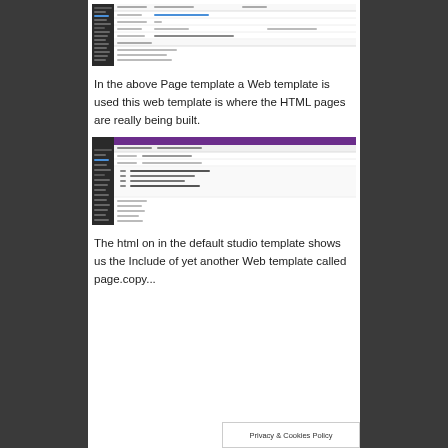[Figure (screenshot): Screenshot of a web page template editor with sidebar navigation and form fields, white background with grey rows]
In the above Page template a Web template is used this web template is where the HTML pages are really being built.
[Figure (screenshot): Screenshot of a web page template editor with purple top bar and sidebar, showing Edit a web template form with fields and code area]
The html on in the default studio template shows us the Include of yet another Web template called page.copy...
Privacy & Cookies Policy